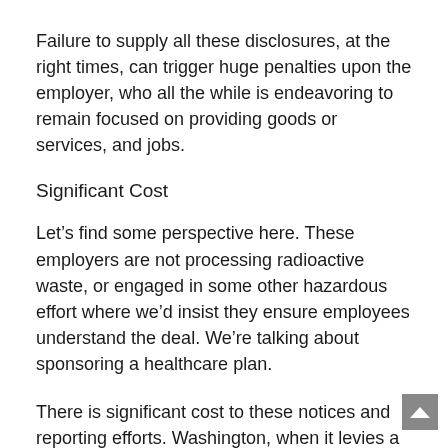Failure to supply all these disclosures, at the right times, can trigger huge penalties upon the employer, who all the while is endeavoring to remain focused on providing goods or services, and jobs.
Significant Cost
Let’s find some perspective here. These employers are not processing radioactive waste, or engaged in some other hazardous effort where we’d insist they ensure employees understand the deal. We’re talking about sponsoring a healthcare plan.
There is significant cost to these notices and reporting efforts. Washington, when it levies a new notice obligation, usually attempts to quantify the time and cost burden on the plan. Standing alone, the burden of any single notice is not